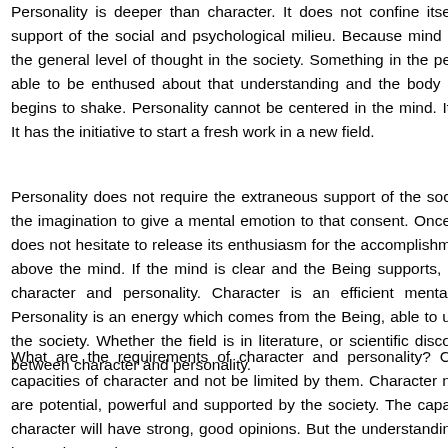Personality is deeper than character. It does not confine itself to the support of the social and psychological milieu. Because mind is above the general level of thought in the society. Something in the person is able to be enthused about that understanding and the body is above begins to shake. Personality cannot be centered in the mind. It has the initiative to start a fresh work in a new field.
Personality does not require the extraneous support of the society or the imagination to give a mental emotion to that consent. Once does not hesitate to release its enthusiasm for the accomplishment above the mind. If the mind is clear and the Being supports, it character and personality. Character is an efficient mental Personality is an energy which comes from the Being, able to the society. Whether the field is in literature, or scientific discovery between character and personality.
What are the requirements of character and personality? capacities of character and not be limited by them. Character are potential, powerful and supported by the society. The character will have strong, good opinions. But the understanding has understood.